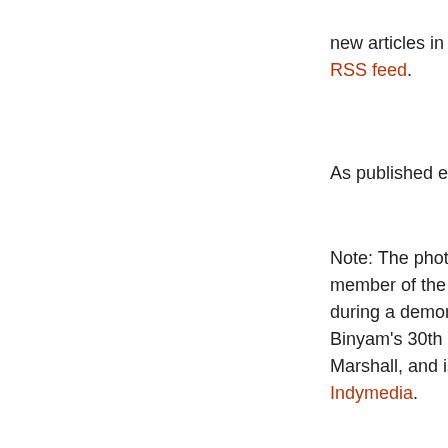new articles in your i... RSS feed.
As published exclusiv...
Note: The photo at the... member of the London... during a demonstration... Binyam's 30th birthday... Marshall, and is taken... Indymedia.
For a sequence of art... Mohamed, see the fol... British resident Binyam... suicide" in Guantánamo... Guantánamo: Torture... sues British governme... Binyam Mohamed's le... Gordon Brown (May 2... critical judge sacked,... (June 2008), Binyam...